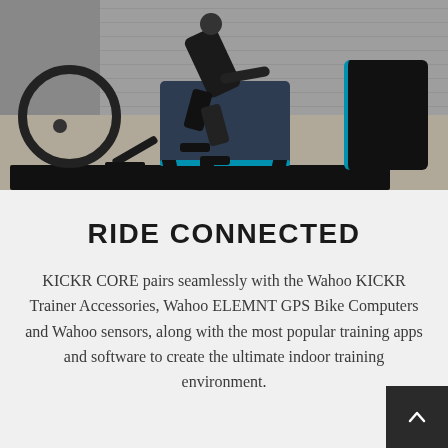[Figure (photo): Indoor cycling trainer photo showing a person riding a bicycle mounted on a Wahoo KICKR CORE smart trainer on a black mat in a garage/gym setting with concrete floor and textured wall in background.]
RIDE CONNECTED
KICKR CORE pairs seamlessly with the Wahoo KICKR Trainer Accessories, Wahoo ELEMNT GPS Bike Computers and Wahoo sensors, along with the most popular training apps and software to create the ultimate indoor training environment.